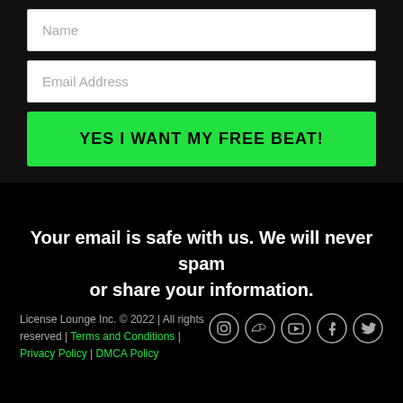Name
Email Address
YES I WANT MY FREE BEAT!
Your email is safe with us. We will never spam or share your information.
License Lounge Inc. © 2022 | All rights reserved | Terms and Conditions | Privacy Policy | DMCA Policy